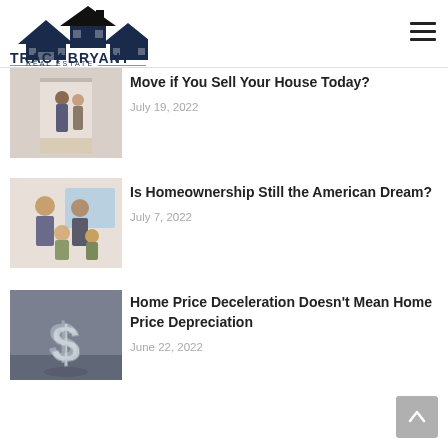Tracy Bryant Real Estate
[Figure (photo): People standing at a doorway, interior home scene]
Move if You Sell Your House Today?
July 19, 2022
[Figure (photo): Family with children hugging and smiling]
Is Homeownership Still the American Dream?
July 7, 2022
[Figure (photo): Dollar sign 3D sculpture on grey background]
Home Price Deceleration Doesn't Mean Home Price Depreciation
June 22, 2022